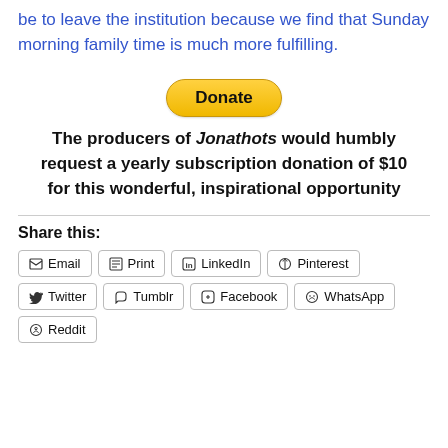be to leave the institution because we find that Sunday morning family time is much more fulfilling.
[Figure (other): PayPal Donate button (yellow rounded rectangle with bold 'Donate' text)]
The producers of Jonathots would humbly request a yearly subscription donation of $10 for this wonderful, inspirational opportunity
Share this:
Email | Print | LinkedIn | Pinterest | Twitter | Tumblr | Facebook | WhatsApp | Reddit